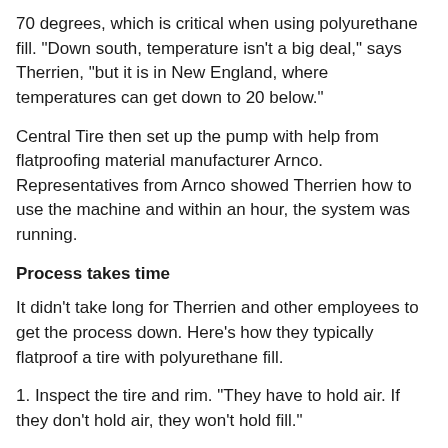70 degrees, which is critical when using polyurethane fill. "Down south, temperature isn't a big deal," says Therrien, "but it is in New England, where temperatures can get down to 20 below."
Central Tire then set up the pump with help from flatproofing material manufacturer Arnco. Representatives from Arnco showed Therrien how to use the machine and within an hour, the system was running.
Process takes time
It didn't take long for Therrien and other employees to get the process down. Here's how they typically flatproof a tire with polyurethane fill.
1. Inspect the tire and rim. "They have to hold air. If they don't hold air, they won't hold fill."
2. Coat the rim with a thin layer of mounting paste so the foam will peel off more easily if the tire has to be cut open at a later date.